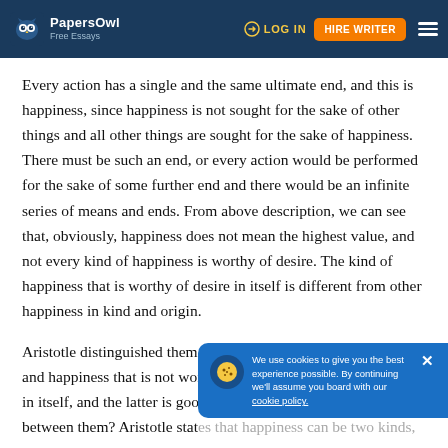PapersOwl Free Essays | LOG IN | HIRE WRITER
Every action has a single and the same ultimate end, and this is happiness, since happiness is not sought for the sake of other things and all other things are sought for the sake of happiness. There must be such an end, or every action would be performed for the sake of some further end and there would be an infinite series of means and ends. From above description, we can see that, obviously, happiness does not mean the highest value, and not every kind of happiness is worthy of desire. The kind of happiness that is worthy of desire in itself is different from other happiness in kind and origin.
Aristotle distinguished them by happiness that is worth pursuing and happiness that is not worth pursuing. The former is not good in itself, and the latter is good in itself. So how do we distinguish between them? Aristotle states that happiness can be two kinds, that is, perceptual and non-perceptual activity. Perceptual activity can be directly felt, such as the desire for delicious food